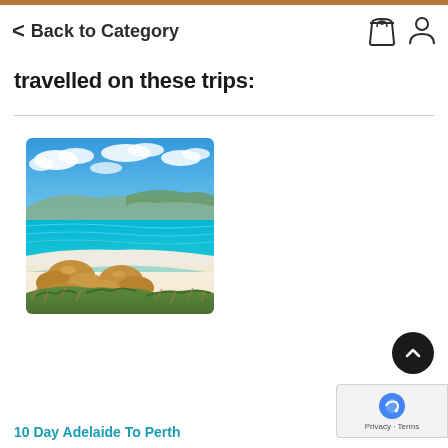Back to Category
travelled on these trips:
[Figure (photo): Scenic coastal beach photo showing turquoise waters, white sand, granite boulders in foreground, and blue sky with white clouds above.]
10 Day Adelaide To Perth